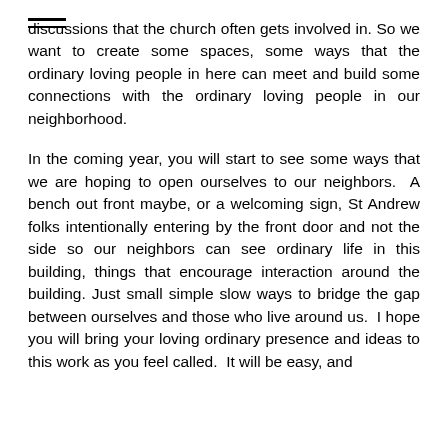— (two horizontal lines)
discussions that the church often gets involved in. So we want to create some spaces, some ways that the ordinary loving people in here can meet and build some connections with the ordinary loving people in our neighborhood.
In the coming year, you will start to see some ways that we are hoping to open ourselves to our neighbors.  A bench out front maybe, or a welcoming sign, St Andrew folks intentionally entering by the front door and not the side so our neighbors can see ordinary life in this building, things that encourage interaction around the building. Just small simple slow ways to bridge the gap between ourselves and those who live around us.  I hope you will bring your loving ordinary presence and ideas to this work as you feel called.  It will be easy, and